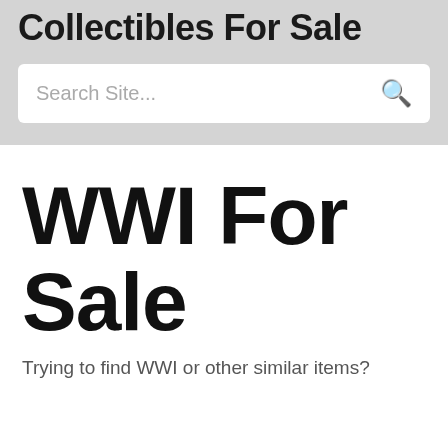Collectibles For Sale
Search Site...
WWI For Sale
Trying to find WWI or other similar items?